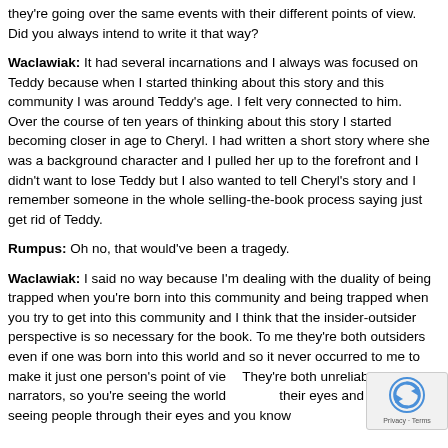they're going over the same events with their different points of view. Did you always intend to write it that way?
Waclawiak: It had several incarnations and I always was focused on Teddy because when I started thinking about this story and this community I was around Teddy's age. I felt very connected to him. Over the course of ten years of thinking about this story I started becoming closer in age to Cheryl. I had written a short story where she was a background character and I pulled her up to the forefront and I didn't want to lose Teddy but I also wanted to tell Cheryl's story and I remember someone in the whole selling-the-book process saying just get rid of Teddy.
Rumpus: Oh no, that would've been a tragedy.
Waclawiak: I said no way because I'm dealing with the duality of being trapped when you're born into this community and being trapped when you try to get into this community and I think that the insider-outsider perspective is so necessary for the book. To me they're both outsiders even if one was born into this world and so it never occurred to me to make it just one person's point of view. They're both unreliable narrators, so you're seeing the world through their eyes and you're seeing people through their eyes and you know it's not always the most flattering portrait of the characters and